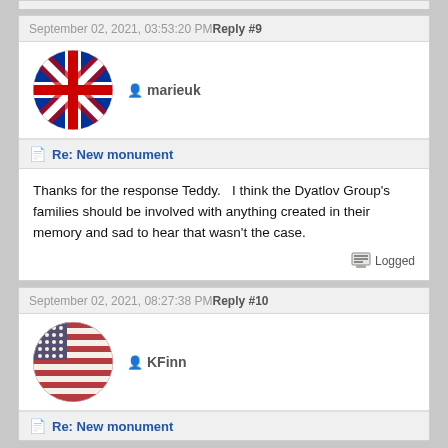September 02, 2021, 03:53:20 PM Reply #9
[Figure (photo): Circular avatar with UK flag (Union Jack) for user marieuk]
marieuk
Re: New monument
Thanks for the response Teddy.   I think the Dyatlov Group's families should be involved with anything created in their memory and sad to hear that wasn't the case.
Logged
September 02, 2021, 08:27:38 PM Reply #10
[Figure (photo): Circular avatar with US flag (Stars and Stripes) for user KFinn]
KFinn
Re: New monument